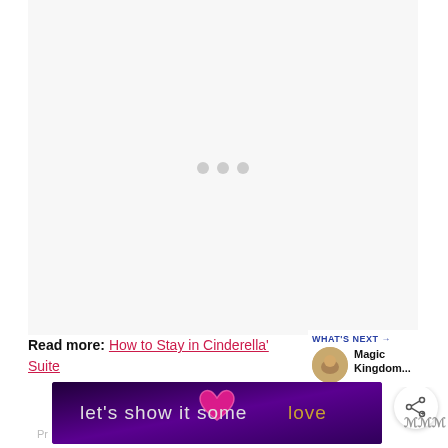[Figure (other): Ad placeholder area with light gray background and three loading dots in the center]
[Figure (other): Blue circular heart/favorite button icon]
[Figure (other): White circular share button icon with share symbol]
Read more: How to Stay in Cinderella's Suite
WHAT'S NEXT → Magic Kingdom...
[Figure (other): Banner advertisement with purple background reading let's show it some love with a pink heart icon]